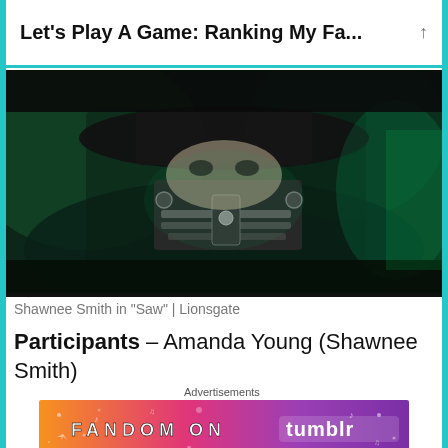Let’s Play A Game: Ranking My Fa...
[Figure (photo): Dark, greenish-tinted close-up shot of a character from the movie Saw, wearing a metal jaw device and a dark hat, from Lionsgate.]
Shawnee Smith in “Saw” | Lionsgate
Participants – Amanda Young (Shawnee Smith)
[Figure (other): Advertisement banner: FANDOM ON tumblr, with colorful gradient background from orange to purple with decorative icons.]
The Game – Retrieve the key from the stomach of a “dead” accomplice within 60 seconds or watch